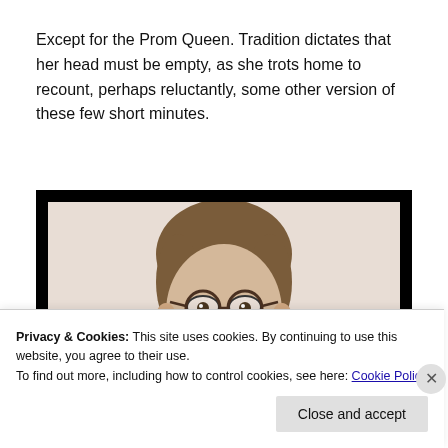Except for the Prom Queen. Tradition dictates that her head must be empty, as she trots home to recount, perhaps reluctantly, some other version of these few short minutes.
[Figure (photo): A man with glasses and medium-length brown hair shown from the shoulders up against a light beige background, framed with a thick black border.]
Privacy & Cookies: This site uses cookies. By continuing to use this website, you agree to their use.
To find out more, including how to control cookies, see here: Cookie Policy
Close and accept